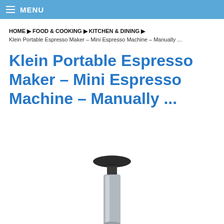MENU
HOME ▶ FOOD & COOKING ▶ KITCHEN & DINING ▶
Klein Portable Espresso Maker – Mini Espresso Machine – Manually ...
Klein Portable Espresso Maker – Mini Espresso Machine – Manually ...
[Figure (photo): Bottom portion of a portable espresso maker device — a cylindrical silver/metallic body with a black rounded top cap visible at the bottom of the page]